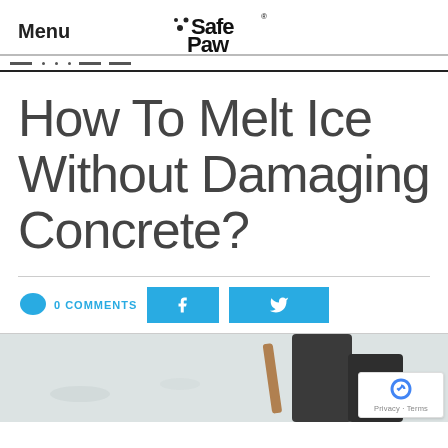Menu
[Figure (logo): Safe Paw Ice Melter logo — stylized text 'Safe Paw' with dotted paw print, subtitle 'Ice Melter', registered trademark symbol]
How To Melt Ice Without Damaging Concrete?
0 COMMENTS
[Figure (photo): Person shoveling snow or ice on a concrete surface, seen from below the waist, holding a wooden-handled shovel, wearing dark clothing, snowy background]